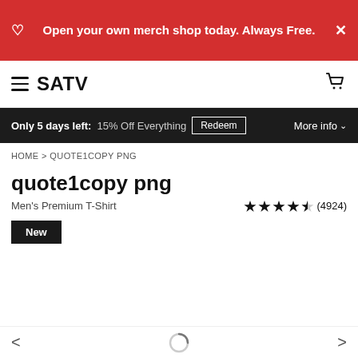Open your own merch shop today. Always Free.
SATV
Only 5 days left: 15% Off Everything  Redeem  More info
HOME > QUOTE1COPY PNG
quote1copy png
Men's Premium T-Shirt  ★★★★½ (4924)
New